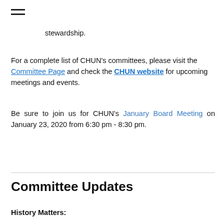stewardship.
For a complete list of CHUN's committees, please visit the Committee Page and check the CHUN website for upcoming meetings and events.
Be sure to join us for CHUN's January Board Meeting on January 23, 2020 from 6:30 pm - 8:30 pm.
Committee Updates
History Matters: